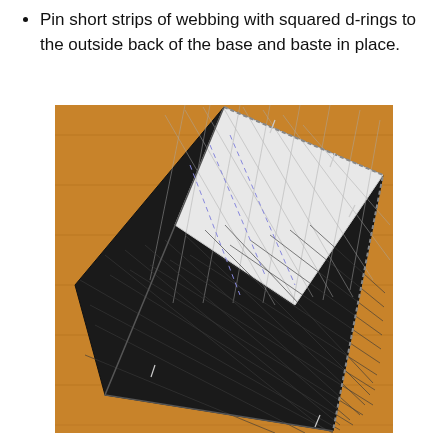Pin short strips of webbing with squared d-rings to the outside back of the base and baste in place.
[Figure (photo): A long elongated sewn fabric base piece lying diagonally on a wooden floor. The exterior is black quilted fabric with a diamond pattern. The interior lining is white quilted fabric. The piece is open at one end revealing the white interior, with pins and basting stitches visible along the edges.]